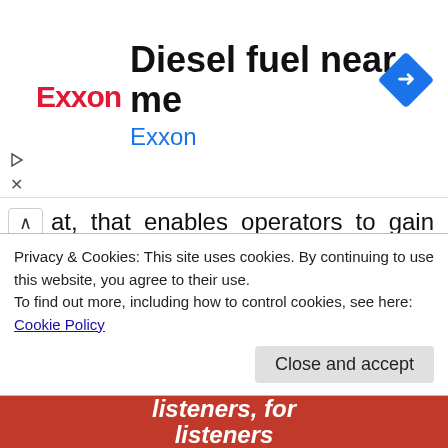[Figure (screenshot): Exxon advertisement banner with Exxon logo in red, title 'Diesel fuel near me', subtitle 'Exxon' in blue, and a blue diamond navigation icon on the right.]
at, that enables operators to gain full access and remote control of an infected system.
Unlike other RATs, the Borat RAT provides Ransomware and DDOS services to attackers expanding their capabilities. Also allows its operators to compile the malware binary for
Privacy & Cookies: This site uses cookies. By continuing to use this website, you agree to their use. To find out more, including how to control cookies, see here: Cookie Policy
Close and accept
[Figure (photo): Bottom advertisement banner in red with white italic text 'listeners, for listeners']